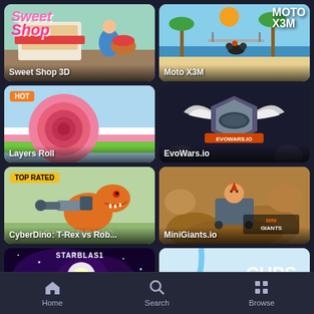[Figure (screenshot): Sweet Shop 3D game thumbnail - colorful 3D shop scene with pink Sweet Shop logo text]
Sweet Shop 3D
[Figure (screenshot): Moto X3M game thumbnail - beach scene with palm trees and motorcycle rider]
Moto X3M
[Figure (screenshot): Layers Roll game thumbnail - pink spiral roll on colorful background, HOT badge]
Layers Roll
[Figure (screenshot): EvoWars.io game thumbnail - armored knight with wings logo on dark background]
EvoWars.io
[Figure (screenshot): CyberDino: T-Rex vs Rob... game thumbnail - dinosaur with robot gear, TOP RATED badge]
CyberDino: T-Rex vs Rob...
[Figure (screenshot): MiniGiants.io game thumbnail - brown rocky arena with character]
MiniGiants.io
[Figure (screenshot): StarBlast game thumbnail - space shooter with ships and nebula background]
StarBlast
[Figure (screenshot): Cups - Water Sort Puzzle game thumbnail - colorful cups with CUPS logo]
Cups - Water Sort Puzzle
Home
Search
Browse